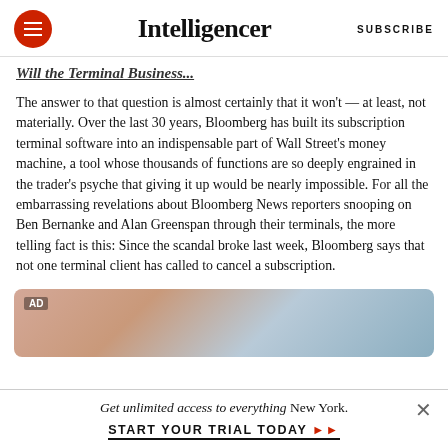Intelligencer | SUBSCRIBE
Will the Terminal Business...
The answer to that question is almost certainly that it won't — at least, not materially. Over the last 30 years, Bloomberg has built its subscription terminal software into an indispensable part of Wall Street's money machine, a tool whose thousands of functions are so deeply engrained in the trader's psyche that giving it up would be nearly impossible. For all the embarrassing revelations about Bloomberg News reporters snooping on Ben Bernanke and Alan Greenspan through their terminals, the more telling fact is this: Since the scandal broke last week, Bloomberg says that not one terminal client has called to cancel a subscription.
[Figure (photo): Advertisement banner image with warm tones (skin tones and blue sky), marked AD in top-left corner.]
Get unlimited access to everything New York. START YOUR TRIAL TODAY